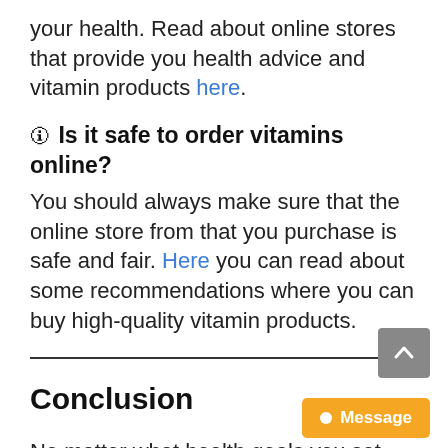your health. Read about online stores that provide you health advice and vitamin products here.
🛈 Is it safe to order vitamins online?
You should always make sure that the online store from that you purchase is safe and fair. Here you can read about some recommendations where you can buy high-quality vitamin products.
Conclusion
No matter what health goals you set, thanks to these stores you have now a great